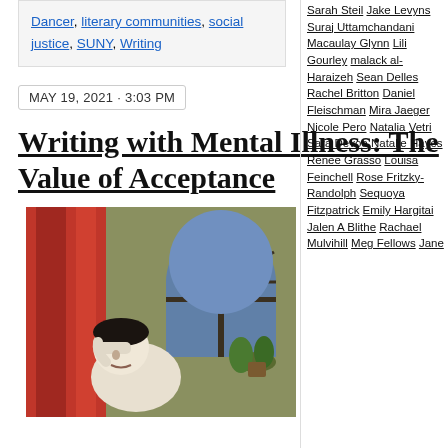Dancer, literary communities, social justice, SUNY, Writing
MAY 19, 2021 · 3:03 PM
Writing with Mental Illness: The Value of Acceptance
[Figure (photo): Painting of a distressed person with head in hand, red curtain and arched window in background with blue sky and potted plant]
Sarah Steil Jake Levyns Suraj Uttamchandani Macaulay Glynn Lili Gourley malack al-Haraizeh Sean Delles Rachel Britton Daniel Fleischman Mira Jaeger Nicole Pero Natalia Vetri Sara Devoe Natalie Hayes Renee Grasso Louisa Feinchell Rose Fritzky-Randolph Sequoya Fitzpatrick Emily Hargitai Jalen A Blithe Rachael Mulvihill Meg Fellows Jane